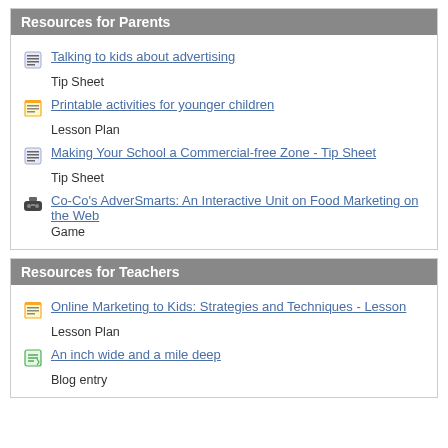Resources for Parents
Talking to kids about advertising
Tip Sheet
Printable activities for younger children
Lesson Plan
Making Your School a Commercial-free Zone - Tip Sheet
Tip Sheet
Co-Co's AdverSmarts: An Interactive Unit on Food Marketing on the Web
Game
Resources for Teachers
Online Marketing to Kids: Strategies and Techniques - Lesson
Lesson Plan
An inch wide and a mile deep
Blog entry